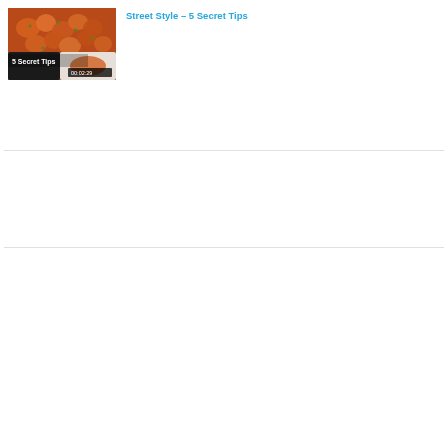[Figure (screenshot): Video thumbnail showing spicy Indian street food (gobi manchurian or similar dish) with text '5 Secret Tips' overlaid and duration '00:02:29' in bottom right corner]
Street Style – 5 Secret Tips